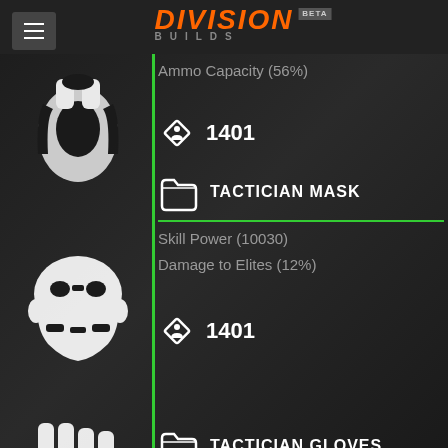Division Builds BETA
Ammo Capacity (56%)
[Figure (illustration): White icon of backpack/chest armor piece on dark background]
1401
TACTICIAN MASK
[Figure (illustration): White icon of mask/face armor piece on dark background]
Skill Power (10030)
Damage to Elites (12%)
1401
TACTICIAN GLOVES
[Figure (illustration): White icon of gloves armor piece on dark background]